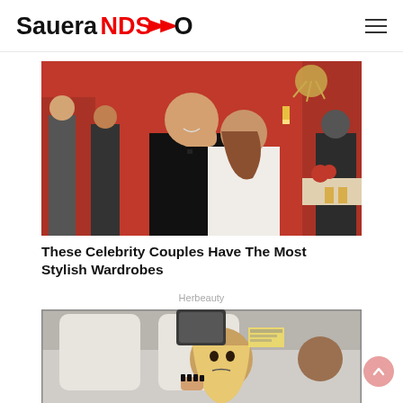SaueraNDS→Ons
[Figure (photo): Celebrity couple at a red-room event. Man in tuxedo being kissed on cheek by woman in white dress. Red walls, gold chandelier, other guests visible in background.]
These Celebrity Couples Have The Most Stylish Wardrobes
Herbeauty
[Figure (photo): Blonde woman inside a car, photographed through the window, looking surprised or distressed, with dark nail polish visible.]